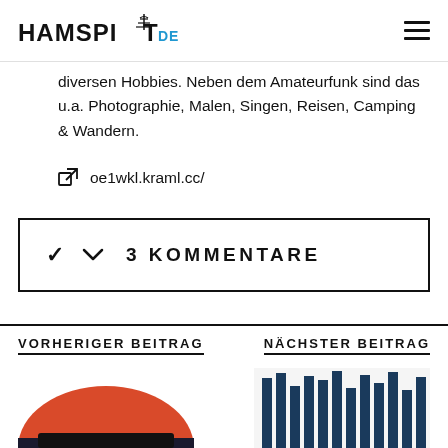HAMSPIRIT.DE
diversen Hobbies. Neben dem Amateurfunk sind das u.a. Photographie, Malen, Singen, Reisen, Camping & Wandern.
oe1wkl.kraml.cc/
3 KOMMENTARE
VORHERIGER BEITRAG
NÄCHSTER BEITRAG
[Figure (illustration): Partial image at bottom left, red/orange semicircle shape]
[Figure (illustration): Partial image at bottom right, dark blue vertical bars/strips]